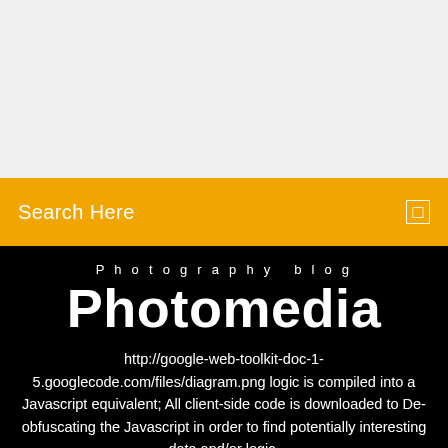[Figure (photo): Top image area with light gray/white background, appears to be a placeholder or partial image]
Search Here
Photography blog
Photomedia
http://google-web-toolkit-doc-1-5.googlecode.com/files/diagram.png logic is compiled into a Javascript equivalent; All client-side code is downloaded to De-obfuscating the Javascript in order to find potentially interesting data and/or logic.